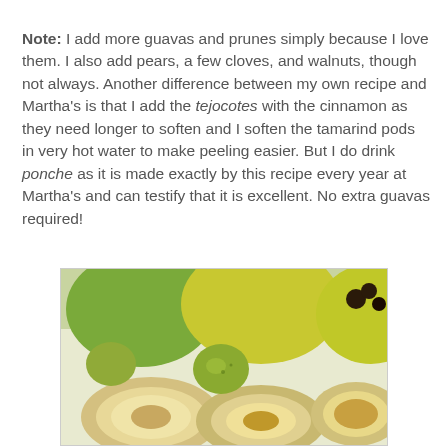Note: I add more guavas and prunes simply because I love them. I also add pears, a few cloves, and walnuts, though not always. Another difference between my own recipe and Martha's is that I add the tejocotes with the cinnamon as they need longer to soften and I soften the tamarind pods in very hot water to make peeling easier. But I do drink ponche as it is made exactly by this recipe every year at Martha's and can testify that it is excellent. No extra guavas required!
[Figure (photo): Photo of green and yellow fruits (tejocotes/guavas) on a white plate, some whole and some cut open showing interior flesh]